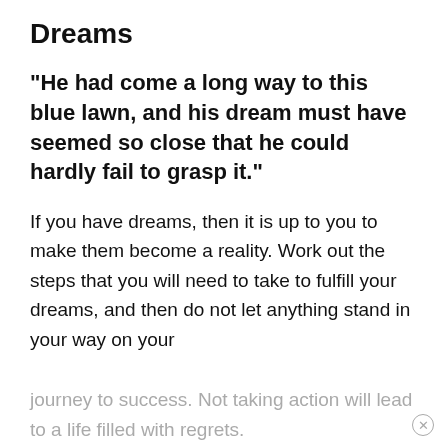Dreams
“He had come a long way to this blue lawn, and his dream must have seemed so close that he could hardly fail to grasp it.”
If you have dreams, then it is up to you to make them become a reality. Work out the steps that you will need to take to fulfill your dreams, and then do not let anything stand in your way on your
journey to success. Not taking action will lead to a life filled with regrets.